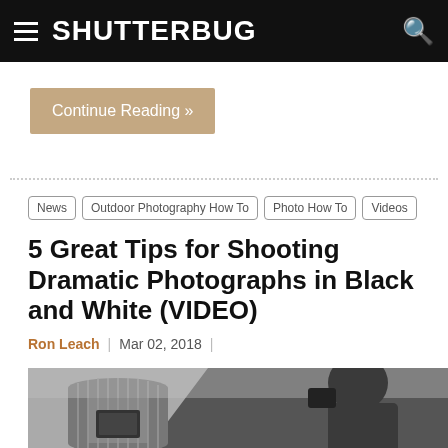SHUTTERBUG
Continue Reading »
News
Outdoor Photography How To
Photo How To
Videos
5 Great Tips for Shooting Dramatic Photographs in Black and White (VIDEO)
Ron Leach  |  Mar 02, 2018  |
[Figure (photo): Black and white split photo showing a circular tower building on the left and a person with camera on the right]